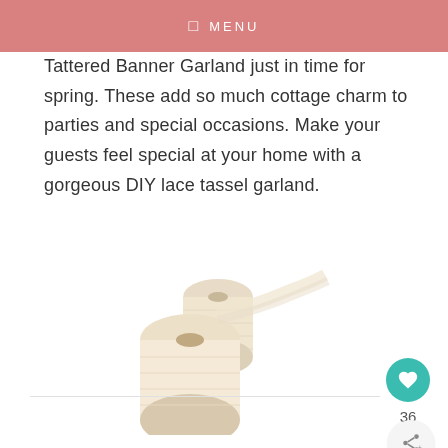MENU
Tattered Banner Garland just in time for spring. These add so much cottage charm to parties and special occasions. Make your guests feel special at your home with a gorgeous DIY lace tassel garland.
[Figure (photo): Two rolls of cream/ivory tulle fabric stacked together on a white background]